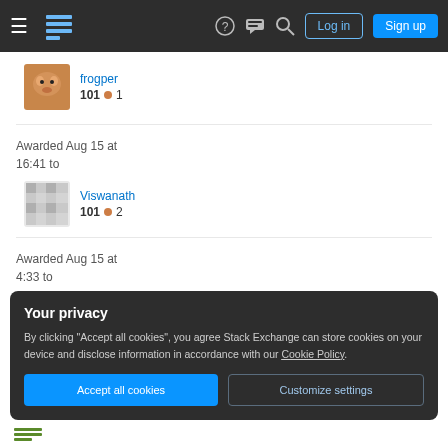Stack Exchange navigation bar with Log in and Sign up buttons
frogpex
101 • 1
Awarded Aug 15 at 16:41 to
Viswanath
101 • 2
Awarded Aug 15 at 4:33 to
tylerwal
101 • 2
Your privacy
By clicking "Accept all cookies", you agree Stack Exchange can store cookies on your device and disclose information in accordance with our Cookie Policy.